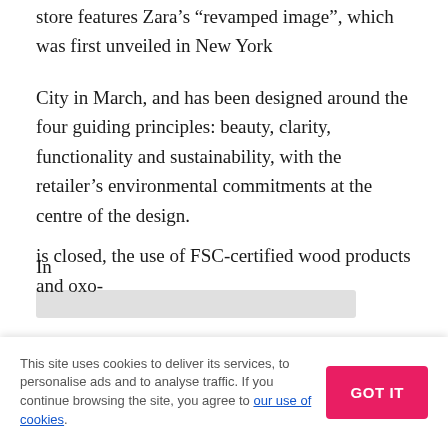store features Zara’s “revamped image”, which was first unveiled in New York
City in March, and has been designed around the four guiding principles: beauty, clarity, functionality and sustainability, with the retailer’s environmental commitments at the centre of the design.
In
accordance with the Inditex Group’s ‘Sustainable Inditex 2011-2015 Plan’, the new store is equipped with all of the
is closed, the use of FSC-certified wood products and oxo-
This site uses cookies to deliver its services, to personalise ads and to analyse traffic. If you continue browsing the site, you agree to our use of cookies.